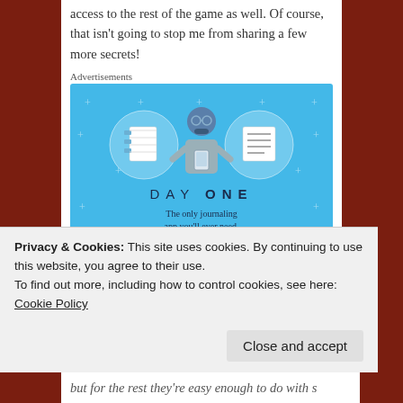access to the rest of the game as well. Of course, that isn't going to stop me from sharing a few more secrets!
Advertisements
[Figure (illustration): Day One journaling app advertisement. Blue background with illustrated icons of notebooks and a person using a phone. Text: DAY ONE - The only journaling app you'll ever need. Get the app button.]
Privacy & Cookies: This site uses cookies. By continuing to use this website, you agree to their use.
To find out more, including how to control cookies, see here: Cookie Policy
but for the rest they're easy enough to do with s